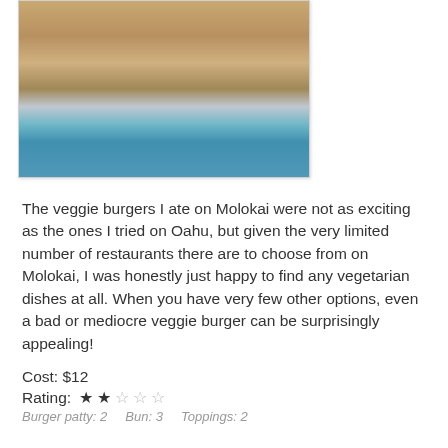[Figure (photo): Close-up photo of a veggie burger on a blue dotted background/plate]
The veggie burgers I ate on Molokai were not as exciting as the ones I tried on Oahu, but given the very limited number of restaurants there are to choose from on Molokai, I was honestly just happy to find any vegetarian dishes at all. When you have very few other options, even a bad or mediocre veggie burger can be surprisingly appealing!
Cost: $12
Rating: ★ ★ ☆ ☆ ☆
Burger patty: 2   Bun: 3   Toppings: 2
Paddler's Inn
10 Mohala Street
Kaunakakai, HI 96748
808.553.5256